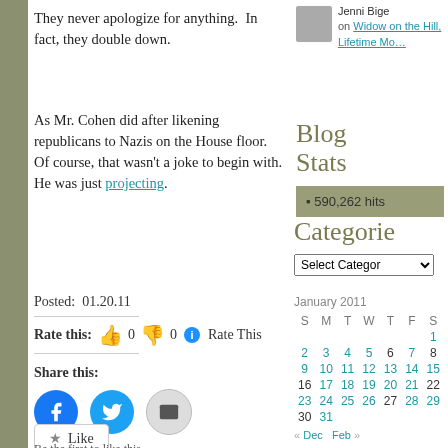They never apologize for anything.  In fact, they double down.
As Mr. Cohen did after likening republicans to Nazis on the House floor.  Of course, that wasn't a joke to begin with.  He was just projecting.
Posted:  01.20.11
Rate this:  0  0  Rate This
Share this:
Like
Be the first to like this.
Jenni Bige on Widow on the Hill, Lifetime Mo...
Blog Stats
590,262 hits
Categories
January 2011 calendar
« Dec   Feb »